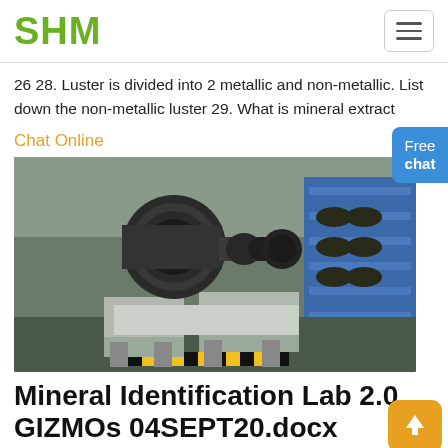SHM
26 28. Luster is divided into 2 metallic and non-metallic. List down the non-metallic luster 29. What is mineral extract
Chat Online
[Figure (photo): Industrial machine equipment in a factory — large electric motor connected to roller/gearbox assembly mounted on grey metal base frames, with blue industrial shelving racks in the background]
Mineral Identification Lab 2.0 GIZMOs 04SEPT20.docx